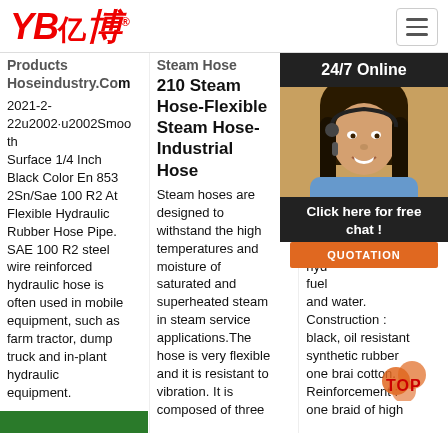YB亿博® [logo]
Products Hoseindustry.Com
2021-2-22u2002·u2002Smooth Surface 1/4 Inch Black Color En 853 2Sn/Sae 100 R2 At Flexible Hydraulic Rubber Hose Pipe. SAE 100 R2 steel wire reinforced hydraulic hose is often used in mobile equipment, such as farm tractor, dump truck and in-plant hydraulic equipment.
Steam Hose 210 Steam Hose-Flexible Steam Hose-Industrial Hose
Steam hoses are designed to withstand the high temperatures and moisture of saturated and superheated steam in steam service applications.The hose is very flexible and it is resistant to vibration. It is composed of three
High Medium Low Pressure Hose We So Pv
Spe SOI App Mec hyd fuel and water. Construction : black, oil resistant synthetic rubber one brai cotton. Reinforcement : one braid of high
[Figure (photo): Customer service agent (woman with headset) with 24/7 Online chat overlay, Click here for free chat button, and QUOTATION button]